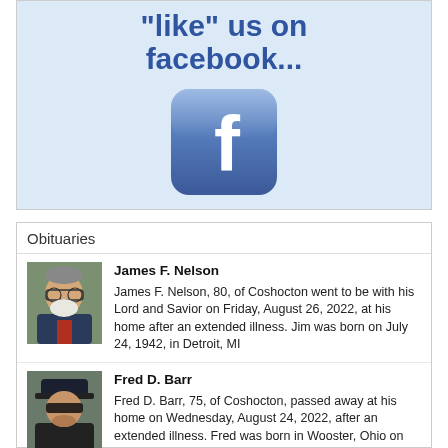[Figure (illustration): Facebook 'like us on facebook...' advertisement banner with Facebook logo icon on light blue background]
Obituaries
James F. Nelson
James F. Nelson, 80, of Coshocton went to be with his Lord and Savior on Friday, August 26, 2022, at his home after an extended illness. Jim was born on July 24, 1942, in Detroit, MI
Fred D. Barr
Fred D. Barr, 75, of Coshocton, passed away at his home on Wednesday, August 24, 2022, after an extended illness. Fred was born in Wooster, Ohio on August 13, 1947, to the late Fred